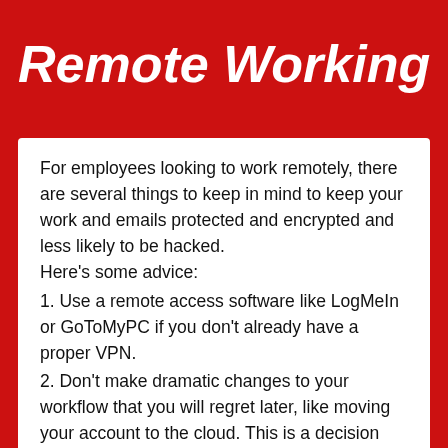Remote Working
For employees looking to work remotely, there are several things to keep in mind to keep your work and emails protected and encrypted and less likely to be hacked.
Here’s some advice:
1. Use a remote access software like LogMeIn or GoToMyPC if you don’t already have a proper VPN.
2. Don’t make dramatic changes to your workflow that you will regret later, like moving your account to the cloud.  This is a decision that should be researched.  Not a snap decision.
3. See if your email provider offers a webmail feature.  Products like Office 365 offer that as part